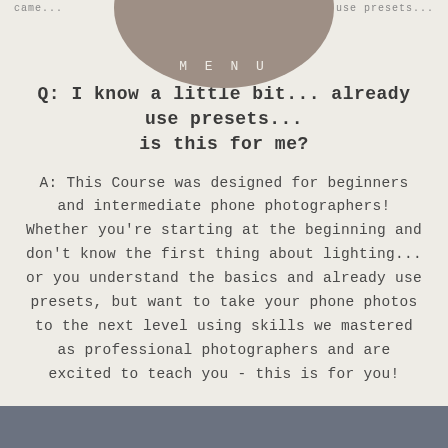came... already use presets...
[Figure (illustration): Circular brown/taupe menu button overlapping top of page with text MENU]
Q: I know a little bit... already use presets... is this for me?
A: This Course was designed for beginners and intermediate phone photographers! Whether you're starting at the beginning and don't know the first thing about lighting... or you understand the basics and already use presets, but want to take your phone photos to the next level using skills we mastered as professional photographers and are excited to teach you - this is for you!